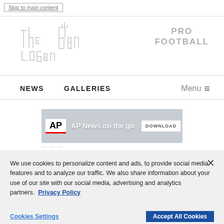Skip to main content
[Figure (logo): The Logan Banner newspaper logo in grey silhouette text]
PRO
FOOTBALL
NEWS   GALLERIES   Menu ≡
[Figure (screenshot): AP News on the go advertisement banner with AP logo, silhouetted people, and DOWNLOAD button]
We use cookies to personalize content and ads, to provide social media features and to analyze our traffic. We also share information about your use of our site with our social media, advertising and analytics partners.  Privacy Policy
Cookies Settings    Accept All Cookies